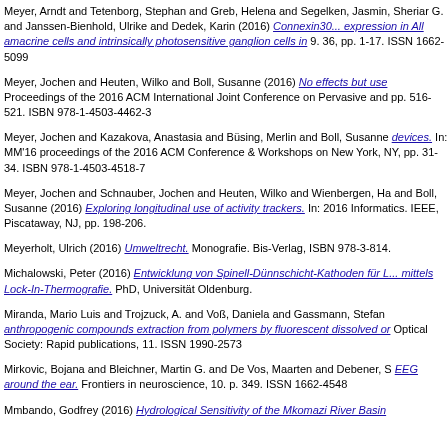Meyer, Arndt and Tetenborg, Stephan and Greb, Helena and Segelken, Jasmin and Sheriar G. and Janssen-Bienhold, Ulrike and Dedek, Karin (2016) Connexin30... expression in All amacrine cells and intrinsically photosensitive ganglion cells in... 9. 36, pp. 1-17. ISSN 1662-5099
Meyer, Jochen and Heuten, Wilko and Boll, Susanne (2016) No effects but use... Proceedings of the 2016 ACM International Joint Conference on Pervasive and... pp. 516-521. ISBN 978-1-4503-4462-3
Meyer, Jochen and Kazakova, Anastasia and Büsing, Merlin and Boll, Susanne... devices. In: MM'16 proceedings of the 2016 ACM Conference & Workshops on... New York, NY, pp. 31-34. ISBN 978-1-4503-4518-7
Meyer, Jochen and Schnauber, Jochen and Heuten, Wilko and Wienbergen, Ha... and Boll, Susanne (2016) Exploring longitudinal use of activity trackers. In: 2016... Informatics. IEEE, Piscataway, NJ, pp. 198-206.
Meyerholt, Ulrich (2016) Umweltrecht. Monografie. Bis-Verlag, ISBN 978-3-814...
Michalowski, Peter (2016) Entwicklung von Spinell-Dünnschicht-Kathoden für L... mittels Lock-In-Thermografie. PhD, Universität Oldenburg.
Miranda, Mario Luis and Trojzuck, A. and Voß, Daniela and Gassmann, Stefan... anthropogenic compounds extraction from polymers by fluorescent dissolved or... Optical Society: Rapid publications, 11. ISSN 1990-2573
Mirkovic, Bojana and Bleichner, Martin G. and De Vos, Maarten and Debener, S... EEG around the ear. Frontiers in neuroscience, 10. p. 349. ISSN 1662-4548
Mmbando, Godfrey (2016) Hydrological Sensitivity of the Mkomazi River Basin...